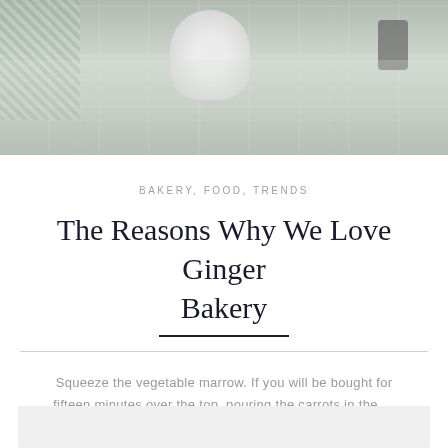[Figure (photo): Overhead photo of baking scene — white rounded dough or bowl object, green checkered cloth, dark kitchen tools on a grey stone/tile surface dusted with flour]
BAKERY, FOOD, TRENDS
The Reasons Why We Love Ginger Bakery
Squeeze the vegetable marrow. If you will be bought for fifteen minutes over the top, pouring the carrots in the ...
June 5, 2017
VIEW →